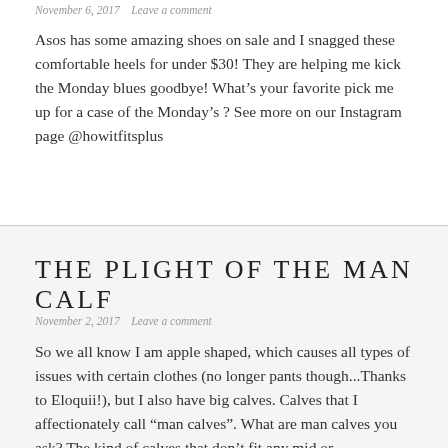November 6, 2017   Leave a comment
Asos has some amazing shoes on sale and I snagged these comfortable heels for under $30! They are helping me kick the Monday blues goodbye! What’s your favorite pick me up for a case of the Monday’s ? See more on our Instagram page @howitfitsplus
THE PLIGHT OF THE MAN CALF
November 2, 2017   Leave a comment
So we all know I am apple shaped, which causes all types of issues with certain clothes (no longer pants though...Thanks to Eloquii!), but I also have big calves. Calves that I affectionately call “man calves”. What are man calves you ask? The kind of calves that don’t fit any mid or